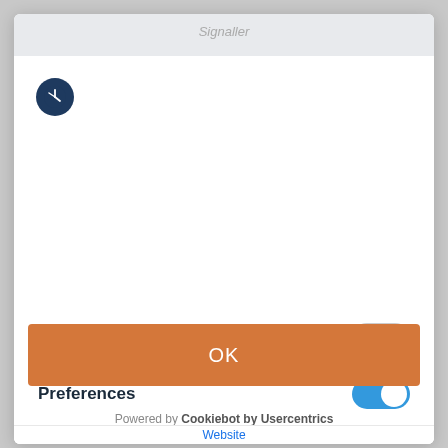Signaller
[Figure (logo): Dark blue circular logo with white clock/compass icon]
This website uses cookies
Necessary
Preferences
Statistics
OK
Powered by Cookiebot by Usercentrics
Website